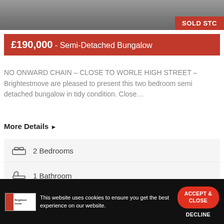[Figure (photo): Street/road photo with SOLD STC badge in bottom-right corner]
£190,000 - Semi-Detached Bungalow
NO ONWARD CHAIN – CLOSE TO WORLE HIGH STREET – Brightestmove are pleased to present this two bedroom semi detached bungalow in tidy condition. Close...
More Details ▶
2 Bedrooms
1 Bathroom
[Figure (logo): Brightestmove logo and FREE Online Instant text on dark background]
This website uses cookies to ensure you get the best experience on our website.
ACCEPT & CLOSE
DECLINE